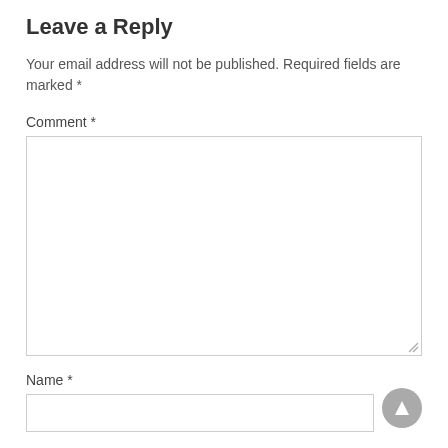Leave a Reply
Your email address will not be published. Required fields are marked *
Comment *
[Figure (other): Empty comment textarea input box with resize handle at bottom right]
Name *
[Figure (other): Empty name text input box]
[Figure (other): Gray circular scroll-to-top button with upward arrow]